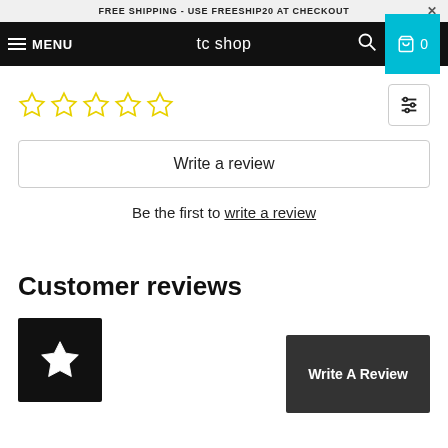FREE SHIPPING - USE FREESHIP20 AT CHECKOUT
MENU  tc shop  🔍  0
[Figure (other): Five empty star rating icons in yellow/gold color]
Write a review
Be the first to write a review
Customer reviews
[Figure (other): Black square avatar with white star icon]
Write A Review